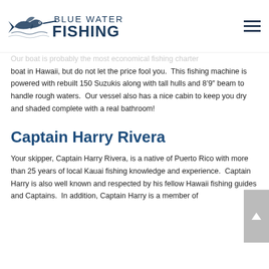Blue Water Fishing
Our boat is probably the most economical fishing charter boat in Hawaii, but do not let the price fool you.  This fishing machine is powered with rebuilt 150 Suzukis along with tall hulls and 8'9" beam to handle rough waters.  Our vessel also has a nice cabin to keep you dry and shaded complete with a real bathroom!
Captain Harry Rivera
Your skipper, Captain Harry Rivera, is a native of Puerto Rico with more than 25 years of local Kauai fishing knowledge and experience.  Captain Harry is also well known and respected by his fellow Hawaii fishing guides and Captains.  In addition, Captain Harry is a member of